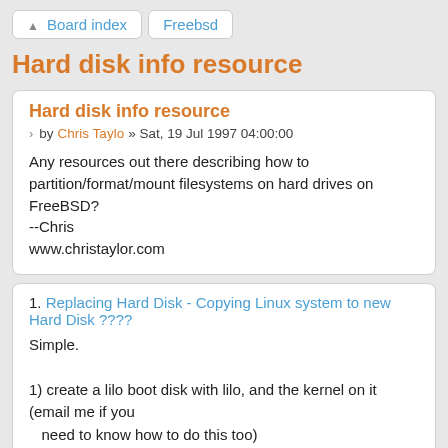Board index  Freebsd
Hard disk info resource
Hard disk info resource
by Chris Taylo » Sat, 19 Jul 1997 04:00:00
Any resources out there describing how to partition/format/mount filesystems on hard drives on FreeBSD?
--Chris
www.christaylor.com
1. Replacing Hard Disk - Copying Linux system to new Hard Disk ????
Simple.
1) create a lilo boot disk with lilo, and the kernel on it (email me if you need to know how to do this too)
2) install the new drive in the system, create a filesystem on it, and mount it on, say, /mnt
3) copy the filesystem over, making sure to preserve permissions, and exclude /mnt and /proc.  Some ways to do this are